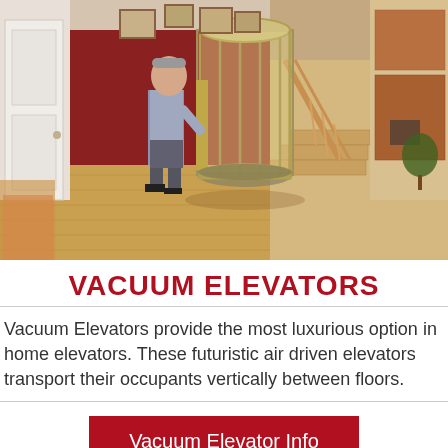[Figure (photo): A man in a grey shirt and dark trousers opening the door of a cylindrical glass vacuum elevator installed in a home with hardwood floors, staircase, and kitchen visible in the background.]
VACUUM ELEVATORS
Vacuum Elevators provide the most luxurious option in home elevators. These futuristic air driven elevators transport their occupants vertically between floors.
Vacuum Elevator Info
[Figure (photo): Partial view of home interior with hardwood floors, bottom strip of image.]